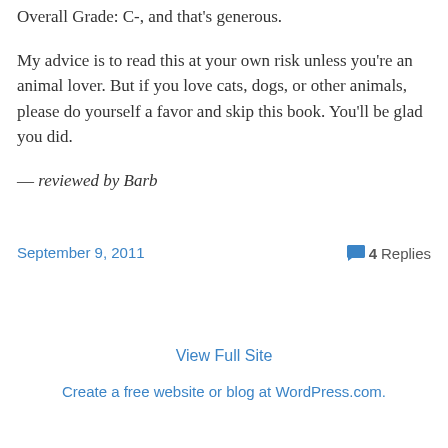Overall Grade: C-, and that’s generous.
My advice is to read this at your own risk unless you’re an animal lover.  But if you love cats, dogs, or other animals, please do yourself a favor and skip this book. You’ll be glad you did.
— reviewed by Barb
September 9, 2011
4 Replies
View Full Site
Create a free website or blog at WordPress.com.